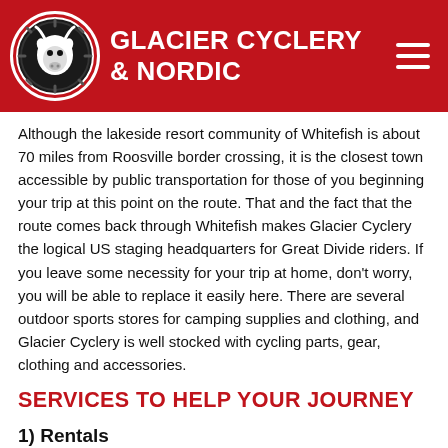GLACIER CYCLERY & NORDIC
Although the lakeside resort community of Whitefish is about 70 miles from Roosville border crossing, it is the closest town accessible by public transportation for those of you beginning your trip at this point on the route. That and the fact that the route comes back through Whitefish makes Glacier Cyclery the logical US staging headquarters for Great Divide riders. If you leave some necessity for your trip at home, don't worry, you will be able to replace it easily here. There are several outdoor sports stores for camping supplies and clothing, and Glacier Cyclery is well stocked with cycling parts, gear, clothing and accessories.
SERVICES TO HELP YOUR JOURNEY
1) Rentals
Here are some reasons renting a bike for the Great Divide and what to for...